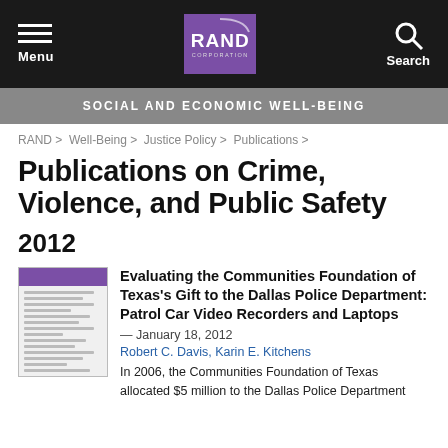[Figure (screenshot): RAND Corporation website header with navigation bar showing Menu icon on left, RAND Corporation purple logo in center, and Search icon on right]
SOCIAL AND ECONOMIC WELL-BEING
RAND > Well-Being > Justice Policy > Publications >
Publications on Crime, Violence, and Public Safety
2012
[Figure (photo): Thumbnail image of RAND publication with purple header bar]
Evaluating the Communities Foundation of Texas's Gift to the Dallas Police Department: Patrol Car Video Recorders and Laptops
— January 18, 2012
Robert C. Davis, Karin E. Kitchens
In 2006, the Communities Foundation of Texas allocated $5 million to the Dallas Police Department